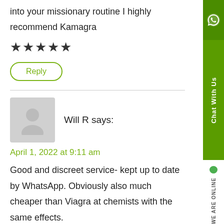into your missionary routine I highly recommend Kamagra
★★★★★
Reply
Will R says:
April 1, 2022 at 9:11 am
Good and discreet service- kept up to date by WhatsApp. Obviously also much cheaper than Viagra at chemists with the same effects.